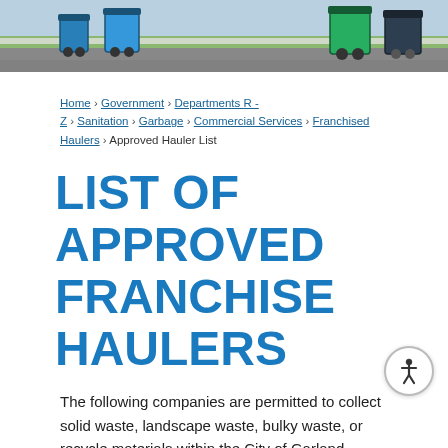[Figure (illustration): Banner illustration showing garbage/recycling bins (blue and green) on a road, cartoon style, with gray asphalt and green grass background]
Home › Government › Departments R - Z › Sanitation › Garbage › Commercial Services › Franchised Haulers › Approved Hauler List
LIST OF APPROVED FRANCHISE HAULERS
The following companies are permitted to collect solid waste, landscape waste, bulky waste, or recycle materials within the City of Garland.
The City of Garland does not endorse any private business. This list does not constitute a referral by City of Garland.